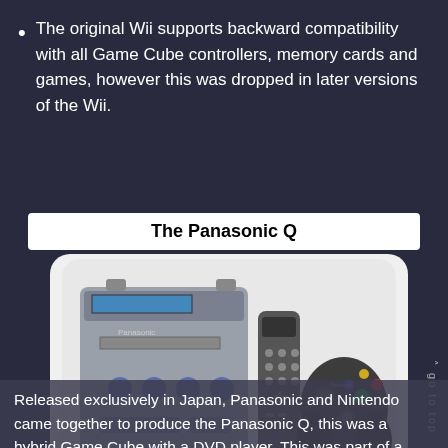The original Wii supports backward compatibility with all Game Cube controllers, memory cards and games, however this was dropped in later versions of the Wii.
The Panasonic Q
[Figure (photo): Photo of the Panasonic Q console (a silver DVD-player/GameCube hybrid), a remote control, and a Panasonic-branded GameCube controller in dark blue/black.]
Panasonic Q
Released exclusively in Japan, Panasonic and Nintendo came together to produce the Panasonic Q, this was a hybrid Game Cube with a DVD player. This was part of a deal in which Panasonic developed the optical drive